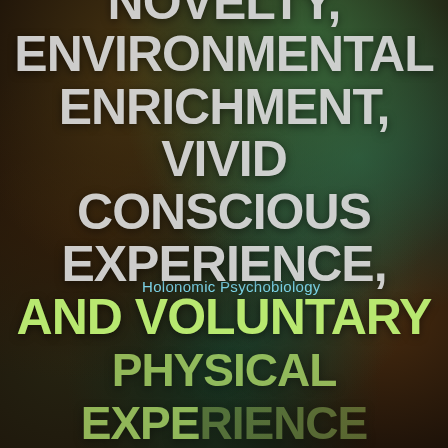[Figure (photo): Abstract blurred bokeh background with greens, browns, and dark tones suggesting organic forms or foliage]
Holonomic Psychobiology
NOVELTY, ENVIRONMENTAL ENRICHMENT, VIVID CONSCIOUS EXPERIENCE, AND VOLUNTARY PHYSICAL EXPERIENCE